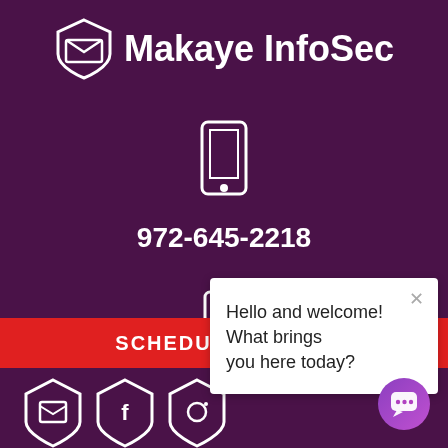[Figure (logo): Makaye InfoSec logo with shield/envelope icon and white text on purple background]
[Figure (illustration): White outline smartphone/mobile phone icon]
972-645-2218
[Figure (illustration): White outline smartphone/mobile phone icon (second)]
972-64...
[Figure (screenshot): Chat popup overlay with close X button and text: Hello and welcome! What brings you here today?]
SCHEDULE A CALL
[Figure (illustration): Purple circular chat bubble button with speech bubble icon]
[Figure (illustration): Bottom social media icons partially visible]